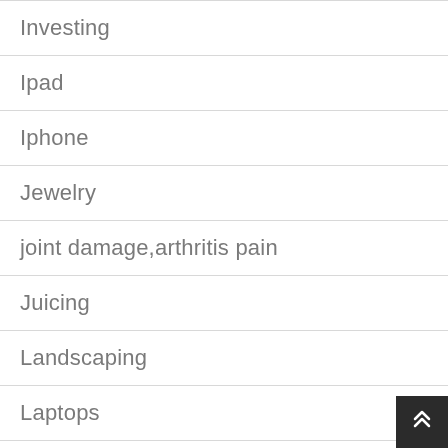Investing
Ipad
Iphone
Jewelry
joint damage,arthritis pain
Juicing
Landscaping
Laptops
Lawyers
Lead Generation